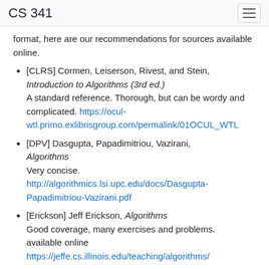CS 341
format, here are our recommendations for sources available online.
[CLRS] Cormen, Leiserson, Rivest, and Stein, Introduction to Algorithms (3rd ed.) A standard reference. Thorough, but can be wordy and complicated. https://ocul-wtl.primo.exlibrisgroup.com/permalink/01OCUL_WTL
[DPV] Dasgupta, Papadimitriou, Vazirani, Algorithms Very concise. http://algorithmics.lsi.upc.edu/docs/Dasgupta-Papadimitriou-Vazirani.pdf
[Erickson] Jeff Erickson, Algorithms Good coverage, many exercises and problems. available online https://jeffe.cs.illinois.edu/teaching/algorithms/